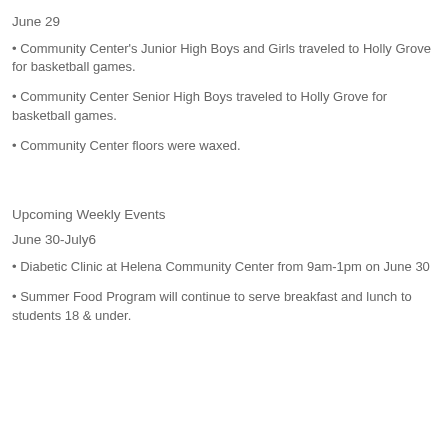June 29
• Community Center's Junior High Boys and Girls traveled to Holly Grove for basketball games.
• Community Center Senior High Boys traveled to Holly Grove for basketball games.
• Community Center floors were waxed.
Upcoming Weekly Events
June 30-July6
• Diabetic Clinic at Helena Community Center from 9am-1pm on June 30
• Summer Food Program will continue to serve breakfast and lunch to students 18 & under.